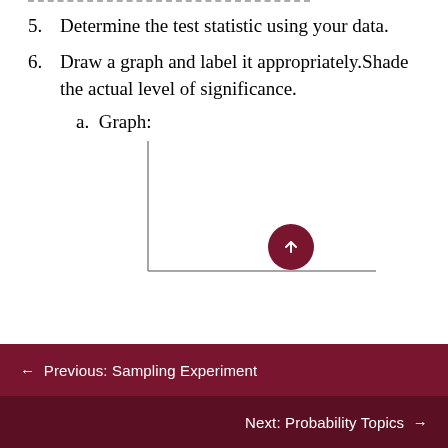5. Determine the test statistic using your data.
6. Draw a graph and label it appropriately.Shade the actual level of significance.
a. Graph:
[Figure (other): Blank L-shaped coordinate axes for student graph with a circular arrow button overlay on the x-axis]
← Previous: Sampling Experiment
Next: Probability Topics →